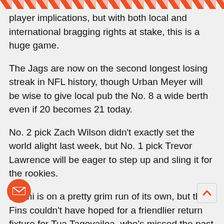[Figure (other): Diagonal orange/salmon striped header banner at top of page]
player implications, but with both local and international bragging rights at stake, this is a huge game.
The Jags are now on the second longest losing streak in NFL history, though Urban Meyer will be wise to give local pub the No. 8 a wide berth even if 20 becomes 21 today.
No. 2 pick Zach Wilson didn't exactly set the world alight last week, but No. 1 pick Trevor Lawrence will be eager to step up and sling it for the rookies.
Miami is on a pretty grim run of its own, but the Fins couldn't have hoped for a friendlier return fixture for Tua Tagovailoa, who's missed the past few games with broken ribs.
We might not get the highest quality football, but this is guaranteed to be a rollercoaster, so follow our guide for how to watch the Raiders vs Jaguars live stream today.